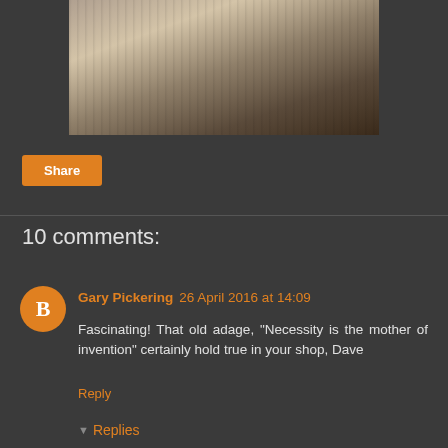[Figure (photo): Sepia-toned photograph of a damaged vehicle (car without hood) near a tree, appearing to be off-road or in a wooded area]
Share
10 comments:
Gary Pickering 26 April 2016 at 14:09
Fascinating! That old adage, "Necessity is the mother of invention" certainly hold true in your shop, Dave
Reply
Replies